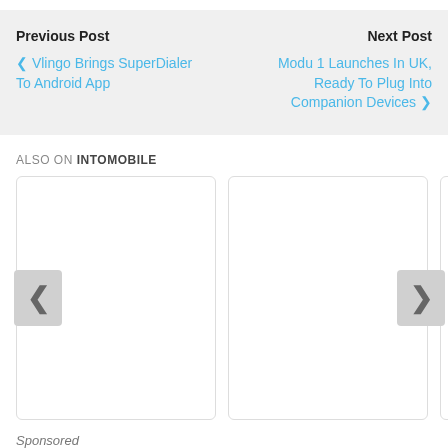Previous Post — ❮ Vlingo Brings SuperDialer To Android App
Next Post — Modu 1 Launches In UK, Ready To Plug Into Companion Devices ❯
ALSO ON INTOMOBILE
[Figure (screenshot): Two content cards with left and right navigation arrows, partially visible third card on the right]
Sponsored